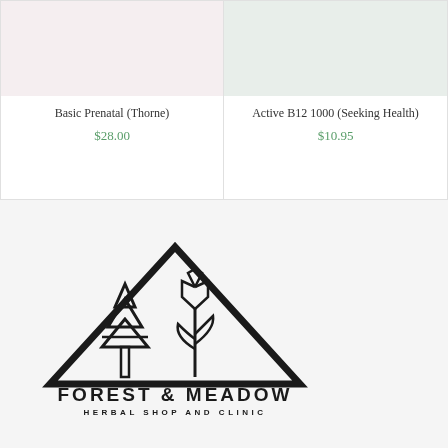Basic Prenatal (Thorne)
$28.00
Active B12 1000 (Seeking Health)
$10.95
[Figure (logo): Forest & Meadow Herbal Shop and Clinic logo with geometric triangle containing stylized pine tree and flower/tulip shapes, with text FOREST & MEADOW HERBAL SHOP AND CLINIC below]